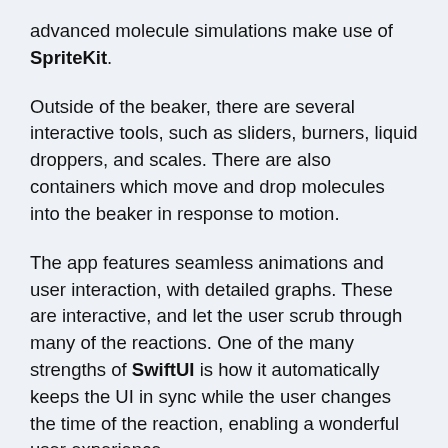advanced molecule simulations make use of SpriteKit.
Outside of the beaker, there are several interactive tools, such as sliders, burners, liquid droppers, and scales. There are also containers which move and drop molecules into the beaker in response to motion.
The app features seamless animations and user interaction, with detailed graphs. These are interactive, and let the user scrub through many of the reactions. One of the many strengths of SwiftUI is how it automatically keeps the UI in sync while the user changes the time of the reaction, enabling a wonderful user experience.
The app is split into different units, which correspond to the AP Chemistry syllabus. The app is architected using a different module for each unit,